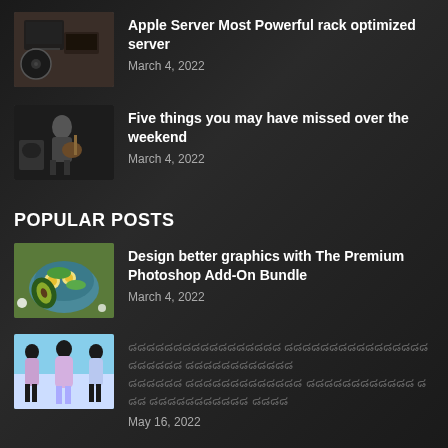[Figure (photo): Thumbnail of turntable and laptop on desk]
Apple Server Most Powerful rack optimized server
March 4, 2022
[Figure (photo): Thumbnail of musician playing guitar]
Five things you may have missed over the weekend
March 4, 2022
POPULAR POSTS
[Figure (photo): Thumbnail of food bowl with salad and eggs]
Design better graphics with The Premium Photoshop Add-On Bundle
March 4, 2022
[Figure (photo): Thumbnail of three women in light colored outfits]
placeholder text in non-latin script
May 16, 2022